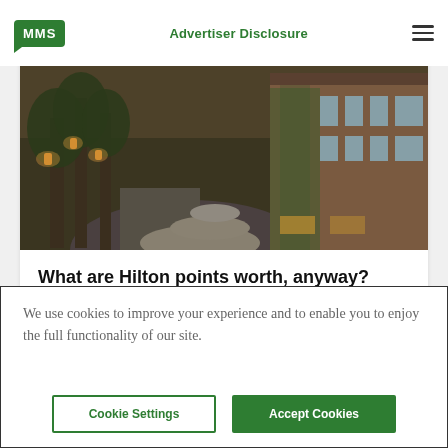MMS | Advertiser Disclosure
[Figure (photo): Outdoor pathway of a luxury hotel or resort at dusk, with illuminated trees, stone walls covered in ivy, and modern building architecture in warm lighting.]
What are Hilton points worth, anyway? Here's your answer
June 4, 2021   💬 11
We use cookies to improve your experience and to enable you to enjoy the full functionality of our site.
Cookie Settings   Accept Cookies